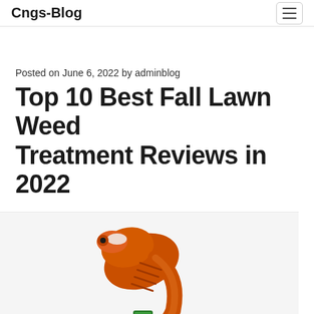Cngs-Blog
Posted on June 6, 2022 by adminblog
Top 10 Best Fall Lawn Weed Treatment Reviews in 2022
[Figure (photo): Orange and green garden spray nozzle / weed treatment sprayer product photo, partially cropped at bottom of page]